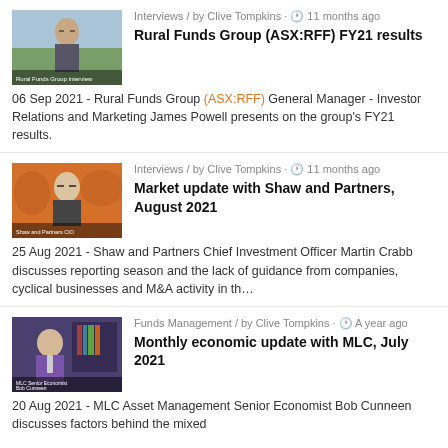[Figure (photo): Video thumbnail showing a man in a suit against an outdoor background]
Interviews / by Clive Tompkins · 11 months ago
Rural Funds Group (ASX:RFF) FY21 results
06 Sep 2021 - Rural Funds Group (ASX:RFF) General Manager - Investor Relations and Marketing James Powell presents on the group's FY21 results.
[Figure (photo): Video thumbnail showing an older man with glasses against an orange background]
Interviews / by Clive Tompkins · 11 months ago
Market update with Shaw and Partners, August 2021
25 Aug 2021 - Shaw and Partners Chief Investment Officer Martin Crabb discusses reporting season and the lack of guidance from companies, cyclical businesses and M&A activity in th…
[Figure (photo): Video thumbnail showing a man in a purple jacket in an office setting]
Funds Management / by Clive Tompkins · A year ago
Monthly economic update with MLC, July 2021
20 Aug 2021 - MLC Asset Management Senior Economist Bob Cunneen discusses factors behind the mixed